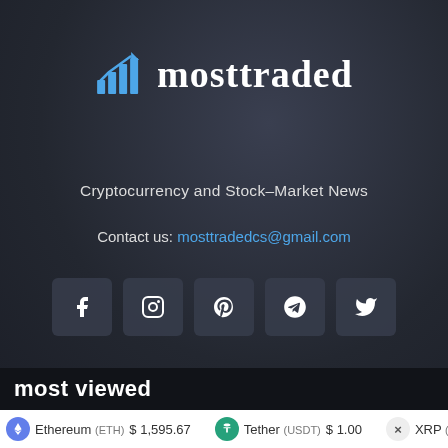mosttraded
Cryptocurrency and Stock–Market News
Contact us: mosttradedcs@gmail.com
[Figure (other): Social media icon buttons: Facebook, Instagram, Pinterest, Telegram, Twitter]
most viewed
Ethereum (ETH) $1,595.67   Tether (USDT) $1.00   XRP (